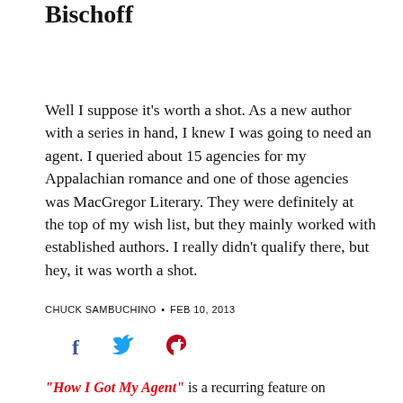Bischoff
Well I suppose it's worth a shot. As a new author with a series in hand, I knew I was going to need an agent. I queried about 15 agencies for my Appalachian romance and one of those agencies was MacGregor Literary. They were definitely at the top of my wish list, but they mainly worked with established authors. I really didn't qualify there, but hey, it was worth a shot.
CHUCK SAMBUCHINO • FEB 10, 2013
[Figure (infographic): Social media share icons: Facebook (f), Twitter (bird), Pinterest (p)]
"How I Got My Agent" is a recurring feature on